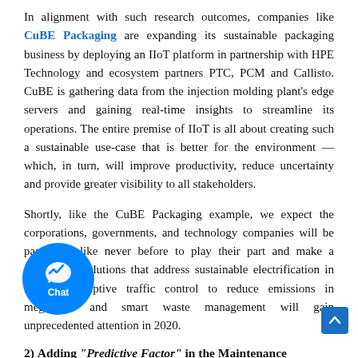In alignment with such research outcomes, companies like CuBE Packaging are expanding its sustainable packaging business by deploying an IIoT platform in partnership with HPE Technology and ecosystem partners PTC, PCM and Callisto. CuBE is gathering data from the injection molding plant's edge servers and gaining real-time insights to streamline its operations. The entire premise of IIoT is all about creating such a sustainable use-case that is better for the environment — which, in turn, will improve productivity, reduce uncertainty and provide greater visibility to all stakeholders.
Shortly, like the CuBE Packaging example, we expect the corporations, governments, and technology companies will be partnering like never before to play their part and make a difference. Solutions that address sustainable electrification in mobility, adaptive traffic control to reduce emissions in megacities and smart waste management will gain unprecedented attention in 2020.
2) Adding "Predictive Factor" in the Maintenance
As existing scenarios, there is one or the other form of Supervisory Control And Data Acquisition (SCADA) system which the whole industrial process(s) is dependent. And when